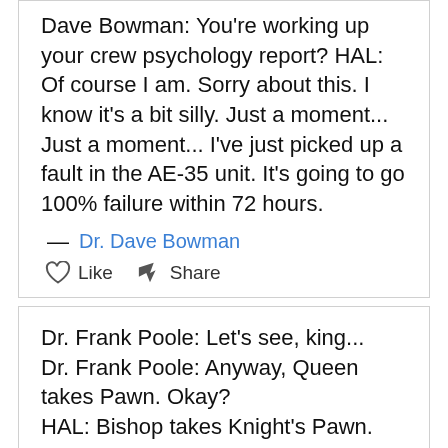Dave Bowman: You're working up your crew psychology report? HAL: Of course I am. Sorry about this. I know it's a bit silly. Just a moment... Just a moment... I've just picked up a fault in the AE-35 unit. It's going to go 100% failure within 72 hours.
— Dr. Dave Bowman
Like   Share
Dr. Frank Poole: Let's see, king... Dr. Frank Poole: Anyway, Queen takes Pawn. Okay? HAL: Bishop takes Knight's Pawn. Dr. Frank Poole: Huh, lovely move. Um, Rook to King 1.